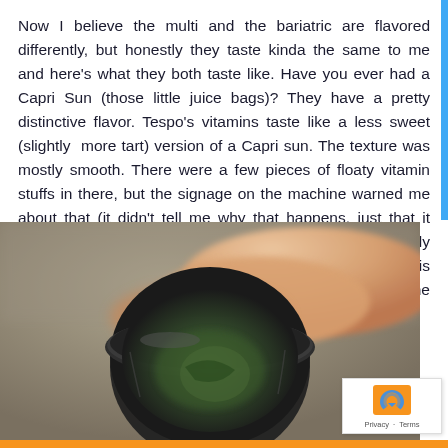Now I believe the multi and the bariatric are flavored differently, but honestly they taste kinda the same to me and here's what they both taste like. Have you ever had a Capri Sun (those little juice bags)? They have a pretty distinctive flavor. Tespo's vitamins taste like a less sweet (slightly more tart) version of a Capri sun. The texture was mostly smooth. There were a few pieces of floaty vitamin stuffs in there, but the signage on the machine warned me about that (it didn't tell me why that happens, just that it would). I didn't mind so much. The liquid itself wasn't terribly gritty, so that was a plus. I think the residue on the glass is from how the plastic cup spins as the machine mixes up the drink.
[Figure (photo): A hand holding a dark cup or glass viewed from above, showing residue inside the cup, with a blurred background.]